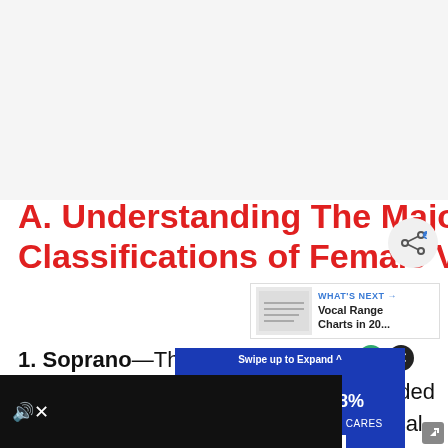[Figure (other): Top gray blank/advertisement area placeholder]
A. Understanding The Major Classifications of Female Voices
1. Soprano—The highest singing voice, lies from middle C4 to high C6. It is divided into five sub-categories according to vocal range, agility and
[Figure (other): WHAT'S NEXT: Vocal Range Charts in 20... promotional widget with sheet music thumbnail]
[Figure (other): Insurance advertisement overlay: SAVE UP TO 18% ON AUTO INSURANCE THAT CARES, GET A QUOTE, INSURWNCE logo]
[Figure (other): Video player strip at bottom left with mute icon, dark background]